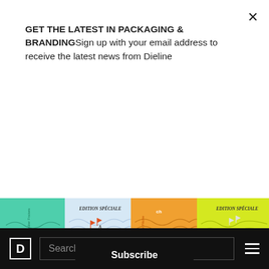GET THE LATEST IN PACKAGING & BRANDINGSign up with your email address to receive the latest news from Dieline
Subscribe
[Figure (photo): Row of colorful beer cans with wavy line patterns in teal, light blue, orange, and yellow. Two of the cans show 'Edition Spéciale' branding with sailboat illustrations and orange triangle flags.]
BEER & MALT BEVERAGE PACKAGING
08/17/2022
Finally, A Light And Cheerful Beer Packaging Design Created By Billy Club
D  Search  ≡